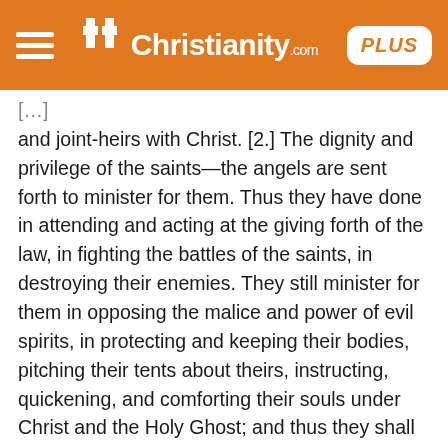iChristianity.com PLUS
and joint-heirs with Christ. [2.] The dignity and privilege of the saints—the angels are sent forth to minister for them. Thus they have done in attending and acting at the giving forth of the law, in fighting the battles of the saints, in destroying their enemies. They still minister for them in opposing the malice and power of evil spirits, in protecting and keeping their bodies, pitching their tents about theirs, instructing, quickening, and comforting their souls under Christ and the Holy Ghost; and thus they shall do in gathering all the saints together at the last day. Bless God for the ministration of angels, keep in God's way, and take the comfort of this promise, that he will give his angels charge over you, to keep you in all your ways. They shall bear you up in their